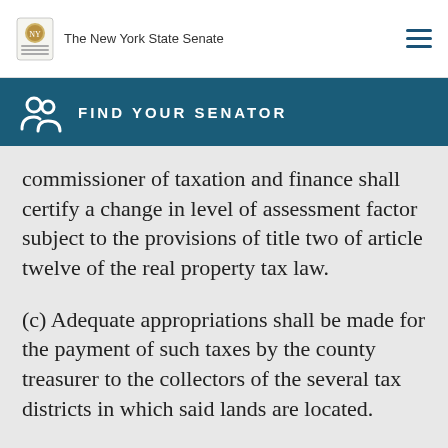The New York State Senate
FIND YOUR SENATOR
commissioner of taxation and finance shall certify a change in level of assessment factor subject to the provisions of title two of article twelve of the real property tax law.
(c) Adequate appropriations shall be made for the payment of such taxes by the county treasurer to the collectors of the several tax districts in which said lands are located.